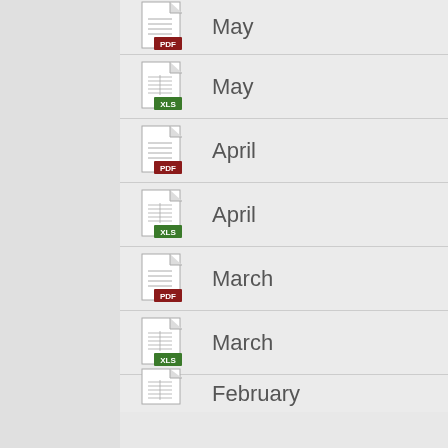May (PDF)
May (XLS)
April (PDF)
April (XLS)
March (PDF)
March (XLS)
February